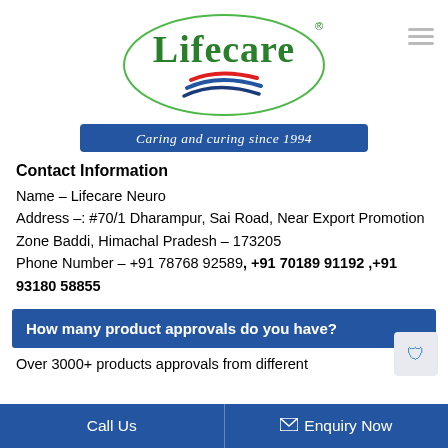[Figure (logo): Lifecare logo — oval border with 'Lifecare' in green text, red and blue swoosh underneath, tagline bar 'Caring and curing since 1994']
Contact Information
Name – Lifecare Neuro
Address –: #70/1 Dharampur, Sai Road, Near Export Promotion Zone Baddi, Himachal Pradesh – 173205
Phone Number – +91 78768 92589, +91 70189 91192 ,+91 93180 58855
How many product approvals do you have?
Over 3000+ products approvals from different
Call Us   Enquiry Now